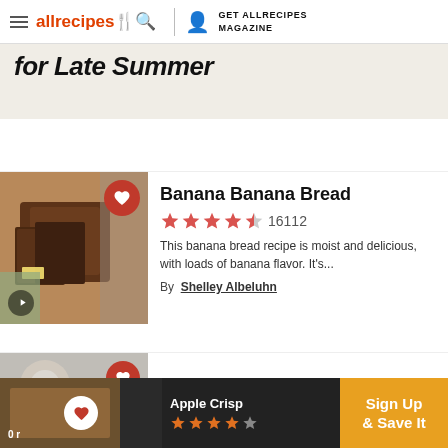allrecipes | GET ALLRECIPES MAGAZINE
for Late Summer
Banana Banana Bread
16112 stars rating
This banana bread recipe is moist and delicious, with loads of banana flavor. It's...
By Shelley Albeluhn
Chef John's Summer Scrambled
Apple Crisp Sign Up & Save It